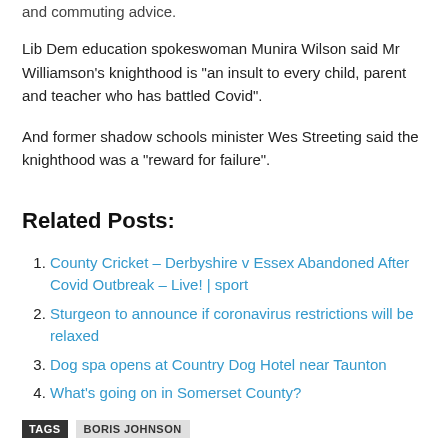and commuting advice.
Lib Dem education spokeswoman Munira Wilson said Mr Williamson's knighthood is “an insult to every child, parent and teacher who has battled Covid”.
And former shadow schools minister Wes Streeting said the knighthood was a “reward for failure”.
Related Posts:
County Cricket – Derbyshire v Essex Abandoned After Covid Outbreak – Live! | sport
Sturgeon to announce if coronavirus restrictions will be relaxed
Dog spa opens at Country Dog Hotel near Taunton
What’s going on in Somerset County?
TAGS  BORIS JOHNSON